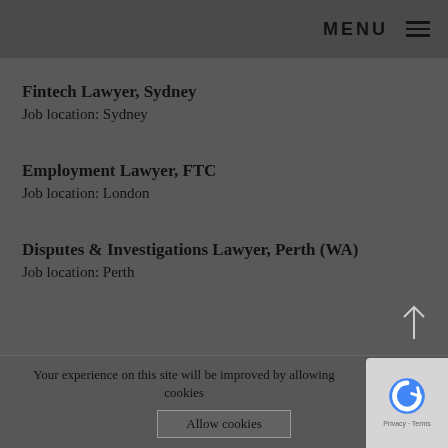MENU
Fintech Lawyer, Sydney
Job location: Sydney
Employment Lawyer, FTC
Job location: London
Disputes & Investigations Lawyer, Perth (WA)
Job location: Perth
Real Estate / REF Associate, 3-6PQE
Your experience on this site will be improved by allowing cookies
Allow cookies